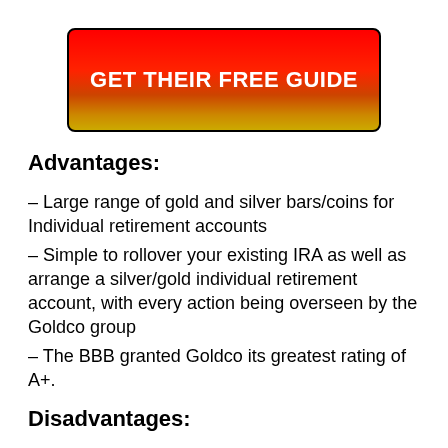[Figure (other): Red to gold gradient button with text GET THEIR FREE GUIDE in white bold letters, black border, rounded corners]
Advantages:
– Large range of gold and silver bars/coins for Individual retirement accounts
– Simple to rollover your existing IRA as well as arrange a silver/gold individual retirement account, with every action being overseen by the Goldco group
– The BBB granted Goldco its greatest rating of A+.
Disadvantages: